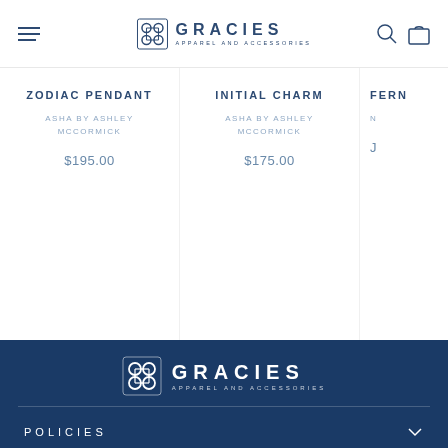Gracies Apparel and Accessories – Navigation bar with hamburger menu, logo, search and cart icons
ZODIAC PENDANT
ASHA BY ASHLEY MCCORMICK
$195.00
INITIAL CHARM
ASHA BY ASHLEY MCCORMICK
$175.00
FERN (partial)
N (partial)
[Figure (logo): Gracies Apparel and Accessories footer logo in white on navy background]
POLICIES
OUR RETAIL STORE